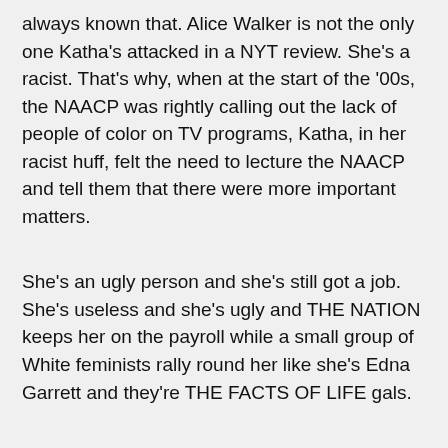always known that.  Alice Walker is not the only one Katha's attacked in a NYT review.  She's a racist.  That's why, when at the start of the '00s, the NAACP was rightly calling out the lack of people of color on TV programs, Katha, in her racist huff, felt the need to lecture the NAACP and tell them that there were more important matters.
She's an ugly person and she's still got a job.  She's useless and she's ugly and THE NATION keeps her on the payroll while a small group of White feminists rally round her like she's Edna Garrett and they're THE FACTS OF LIFE gals.
The press is corrupt and it always has been.  Katha's been a racist for years.  She signed off on that racist letter this year and, even then, notice she wasn't called